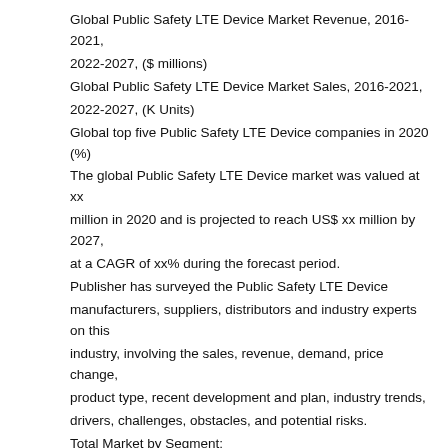Global Public Safety LTE Device Market Revenue, 2016-2021, 2022-2027, ($ millions)
Global Public Safety LTE Device Market Sales, 2016-2021, 2022-2027, (K Units)
Global top five Public Safety LTE Device companies in 2020 (%)
The global Public Safety LTE Device market was valued at xx million in 2020 and is projected to reach US$ xx million by 2027, at a CAGR of xx% during the forecast period.
Publisher has surveyed the Public Safety LTE Device manufacturers, suppliers, distributors and industry experts on this industry, involving the sales, revenue, demand, price change, product type, recent development and plan, industry trends, drivers, challenges, obstacles, and potential risks.
Total Market by Segment:
Global Public Safety LTE Device Market, By Type, 2016-2021, 2022-2027 ($ Millions) & (K Units)
Global Public Safety LTE Device Market Segment Percentages, By Type, 2020 (%)
Smartphones
Routers
Dongles
Modules
Others